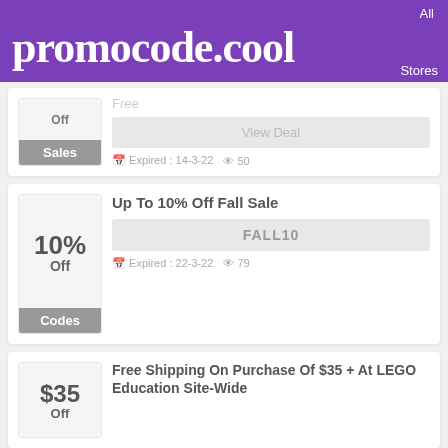promocode.cool
Off
Sales
Free
Expired : 14-3-22  50
10% Off
Codes
Up To 10% Off Fall Sale
FALL10
Expired : 22-3-22  79
$35 Off
Free Shipping On Purchase Of $35 + At LEGO Education Site-Wide